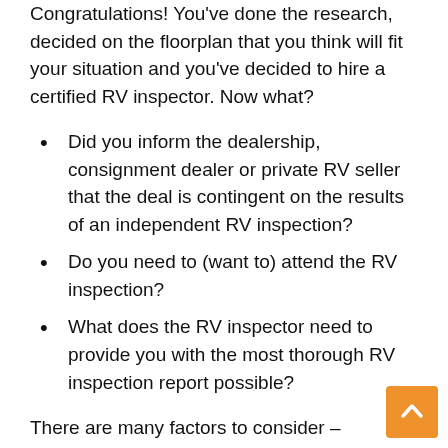Congratulations! You've done the research, decided on the floorplan that you think will fit your situation and you've decided to hire a certified RV inspector. Now what?
Did you inform the dealership, consignment dealer or private RV seller that the deal is contingent on the results of an independent RV inspection?
Do you need to (want to) attend the RV inspection?
What does the RV inspector need to provide you with the most thorough RV inspection report possible?
There are many factors to consider – important things that will help the RV inspection process go smoothly for everybody. From selecting the right RV inspection company to having the RV inspection